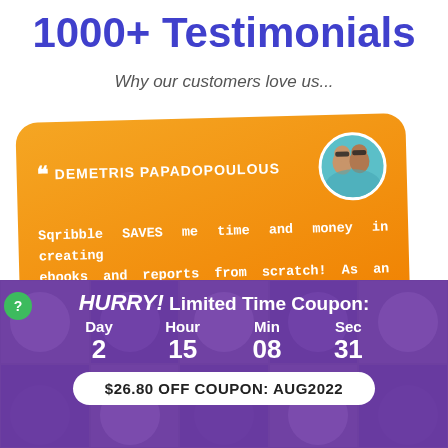1000+ Testimonials
Why our customers love us...
[Figure (infographic): Orange rotated testimonial card with quote marks, name DEMETRIS PAPADOPOULOUS, circular avatar photo of couple, and partial testimonial text: Sqribble SAVES me time and money in creating ebooks and reports from scratch! As an affiliate marketer and blogger I use it to build my list and]
[Figure (infographic): Purple banner with face grid background showing countdown timer (Day 2, Hour 15, Min 08, Sec 31), HURRY! Limited Time Coupon header, and white pill-shaped coupon button: $26.80 OFF COUPON: AUG2022]